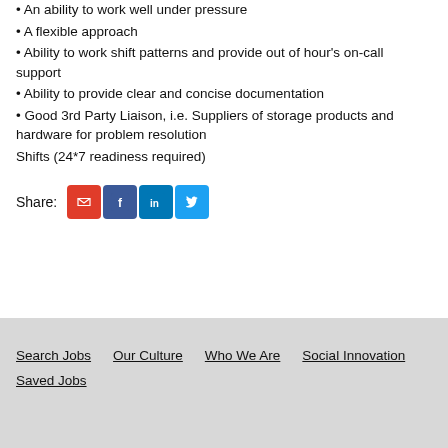• An ability to work well under pressure
• A flexible approach
• Ability to work shift patterns and provide out of hour's on-call support
• Ability to provide clear and concise documentation
• Good 3rd Party Liaison, i.e. Suppliers of storage products and hardware for problem resolution
Shifts (24*7 readiness required)
Share:
Search Jobs   Our Culture   Who We Are   Social Innovation   Saved Jobs